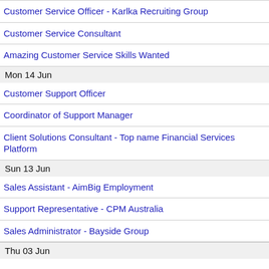Customer Service Officer - Karlka Recruiting Group
Customer Service Consultant
Amazing Customer Service Skills Wanted
Mon 14 Jun
Customer Support Officer
Coordinator of Support Manager
Client Solutions Consultant - Top name Financial Services Platform
Sun 13 Jun
Sales Assistant - AimBig Employment
Support Representative - CPM Australia
Sales Administrator - Bayside Group
Thu 03 Jun